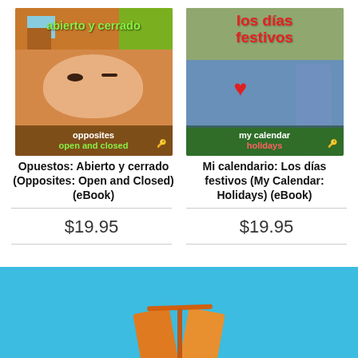[Figure (photo): Book cover for 'Opuestos: Abierto y cerrado (Opposites: Open and Closed)' eBook. Shows a baby with eyes open and closed, orange/yellow background with house graphic, text 'abierto y cerrado' in green and 'opposites open and closed' in white and green.]
[Figure (photo): Book cover for 'Mi calendario: Los días festivos (My Calendar: Holidays)' eBook. Shows family photos with holiday theme, green background, title in red 'los días festivos', subtitle 'my calendar holidays' in white and red.]
Opuestos: Abierto y cerrado (Opposites: Open and Closed) (eBook)
Mi calendario: Los días festivos (My Calendar: Holidays) (eBook)
$19.95
$19.95
[Figure (illustration): Blue banner section at bottom with an orange book graphic partially visible.]